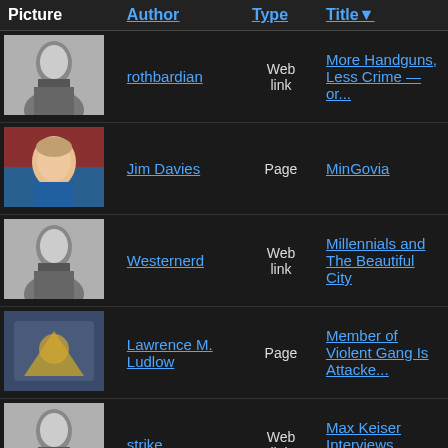| Picture | Author | Type | Title |
| --- | --- | --- | --- |
| [portrait] | rothbardian | Web link | More Handguns, Less Crime — or... |
| [photo] | Jim Davies | Page | MinGovia |
| [portrait] | Westernerd | Web link | Millennials and The Beautiful City |
| [image] | Lawrence M. Ludlow | Page | Member of Violent Gang Is Attacke... |
| [portrait] | strike | Web link | Max Keiser Interviews Stefan Moly... |
| [photo] | Lloyd Ritchey | Web link | Mason Moore: Voluntaryist Rapper... |
| [photo] | Alex R. Knight III | Page | Markets Not Capitalism (Book Rev... |
| [portrait] |  | Web... |  |